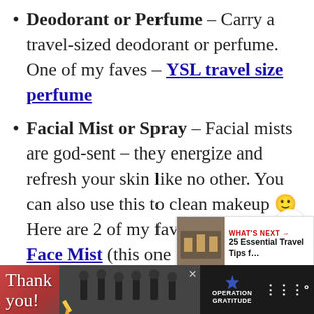Deodorant or Perfume – Carry a travel-sized deodorant or perfume. One of my faves – YSL travel size perfume
Facial Mist or Spray – Facial mists are god-sent – they energize and refresh your skin like no other. You can also use this to clean makeup 🙂 Here are 2 of my faves – Aglow Face Mist (this one comes in a 10 ml size – perfect for small purses on the go) and Elixir
[Figure (screenshot): Advertisement banner at the bottom featuring a 'Thank you' message with military imagery and the Operation Gratitude logo]